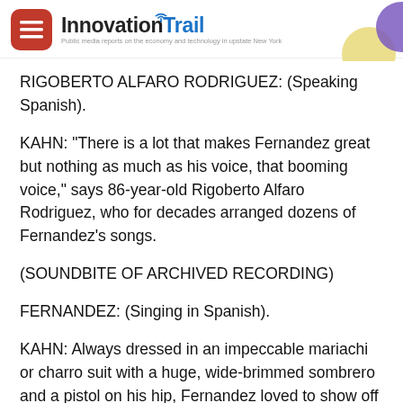Innovation Trail — Public media reports on the economy and technology in upstate New York
RIGOBERTO ALFARO RODRIGUEZ: (Speaking Spanish).
KAHN: "There is a lot that makes Fernandez great but nothing as much as his voice, that booming voice," says 86-year-old Rigoberto Alfaro Rodriguez, who for decades arranged dozens of Fernandez's songs.
(SOUNDBITE OF ARCHIVED RECORDING)
FERNANDEZ: (Singing in Spanish).
KAHN: Always dressed in an impeccable mariachi or charro suit with a huge, wide-brimmed sombrero and a pistol on his hip, Fernandez loved to show off